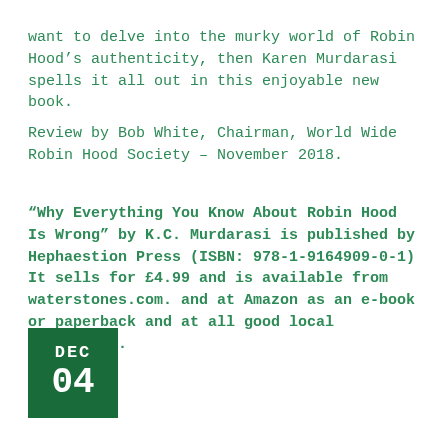want to delve into the murky world of Robin Hood's authenticity, then Karen Murdarasi spells it all out in this enjoyable new book.
Review by Bob White, Chairman, World Wide Robin Hood Society – November 2018.
“Why Everything You Know About Robin Hood Is Wrong” by K.C. Murdarasi is published by Hephaestion Press (ISBN: 978-1-9164909-0-1) It sells for £4.99 and is available from waterstones.com. and at Amazon as an e-book or paperback and at all good local bookstores.
DEC 04